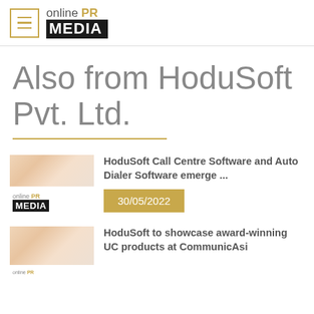online PR MEDIA
Also from HoduSoft Pvt. Ltd.
HoduSoft Call Centre Software and Auto Dialer Software emerge ...
30/05/2022
HoduSoft to showcase award-winning UC products at CommunicAsi